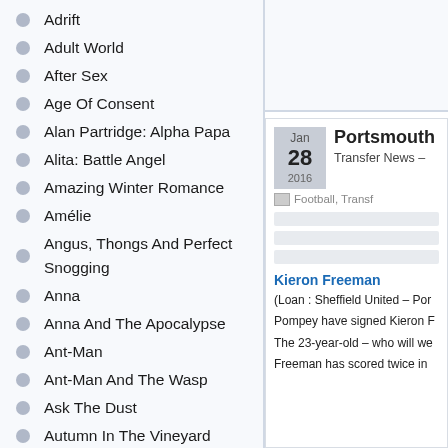Adrift
Adult World
After Sex
Age Of Consent
Alan Partridge: Alpha Papa
Alita: Battle Angel
Amazing Winter Romance
Amélie
Angus, Thongs And Perfect Snogging
Anna
Anna And The Apocalypse
Ant-Man
Ant-Man And The Wasp
Ask The Dust
Autumn In The Vineyard
Avengers: Endgame
Avengers: Infinity War
Bad Neighbours
Bandslam
Bang Gang (A Modern Love Story)
Jan 28 2016
Portsmouth
Transfer News –
Football, Transf
Kieron Freeman
(Loan : Sheffield United – Por
Pompey have signed Kieron F
The 23-year-old – who will we
Freeman has scored twice in